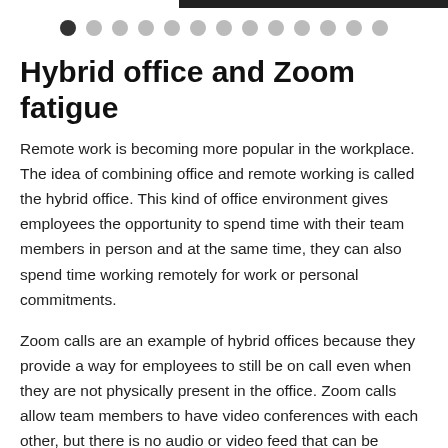[top bar and navigation dots]
Hybrid office and Zoom fatigue
Remote work is becoming more popular in the workplace. The idea of combining office and remote working is called the hybrid office. This kind of office environment gives employees the opportunity to spend time with their team members in person and at the same time, they can also spend time working remotely for work or personal commitments.
Zoom calls are an example of hybrid offices because they provide a way for employees to still be on call even when they are not physically present in the office. Zoom calls allow team members to have video conferences with each other, but there is no audio or video feed that can be